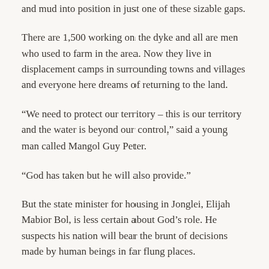and mud into position in just one of these sizable gaps.
There are 1,500 working on the dyke and all are men who used to farm in the area. Now they live in displacement camps in surrounding towns and villages and everyone here dreams of returning to the land.
“We need to protect our territory – this is our territory and the water is beyond our control,” said a young man called Mangol Guy Peter.
“God has taken but he will also provide.”
But the state minister for housing in Jonglei, Elijah Mabior Bol, is less certain about God’s role. He suspects his nation will bear the brunt of decisions made by human beings in far flung places.